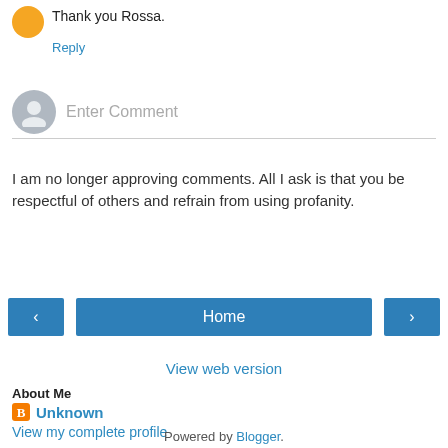Thank you Rossa.
Reply
[Figure (other): Gray avatar/profile placeholder icon for comment entry field]
Enter Comment
I am no longer approving comments. All I ask is that you be respectful of others and refrain from using profanity.
[Figure (other): Navigation buttons: left arrow, Home, right arrow]
View web version
About Me
Unknown
View my complete profile
Powered by Blogger.